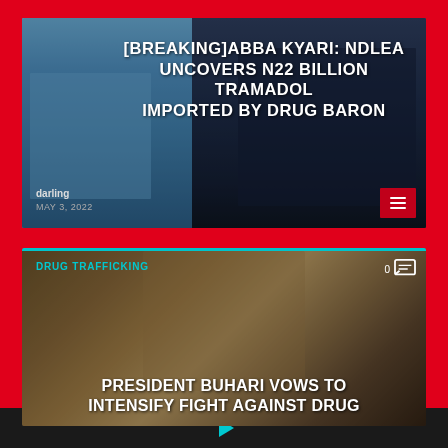[Figure (photo): News article card showing two men - one in police/military blue uniform on the left and one in a dark suit with striped tie on the right. Breaking news headline overlay on the image.]
[BREAKING]ABBA KYARI: NDLEA UNCOVERS N22 BILLION TRAMADOL IMPORTED BY DRUG BARON
darling
MAY 3, 2022
[Figure (photo): News article card showing President Buhari with a group of people in traditional Nigerian attire standing together. Category tag 'DRUG TRAFFICKING' shown at top.]
DRUG TRAFFICKING
PRESIDENT BUHARI VOWS TO INTENSIFY FIGHT AGAINST DRUG